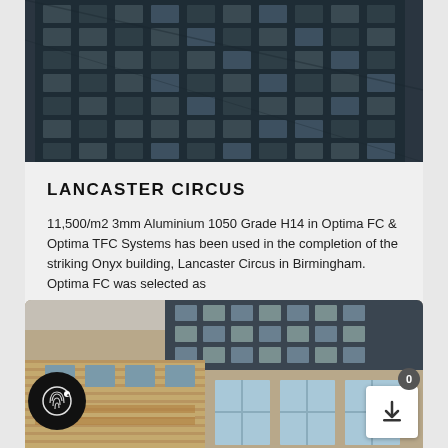[Figure (photo): Dark modern high-rise building with grid of windows, viewed from below at an angle, monochromatic dark blue-grey tone]
LANCASTER CIRCUS
11,500/m2 3mm Aluminium 1050 Grade H14 in Optima FC & Optima TFC Systems has been used in the completion of the striking Onyx building, Lancaster Circus in Birmingham. Optima FC was selected as
AUGUST 11, 2021
[Figure (photo): Modern building with brick facade and dark upper floors, showing architectural detail with windows]